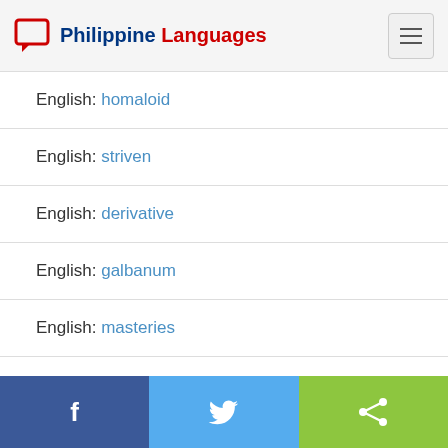Philippine Languages
English: homaloid
English: striven
English: derivative
English: galbanum
English: masteries
English: neelghau
Facebook | Twitter | Share